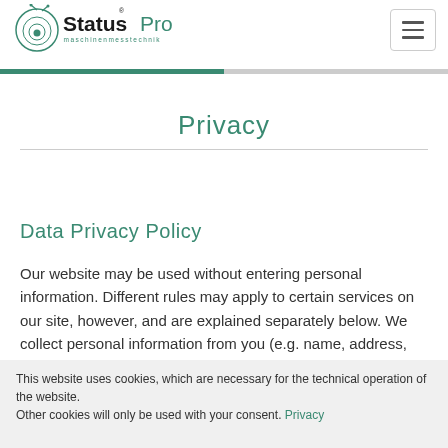Status Pro maschinenmesstechnik [logo] [hamburger menu button]
Privacy
Data Privacy Policy
Our website may be used without entering personal information. Different rules may apply to certain services on our site, however, and are explained separately below. We collect personal information from you (e.g. name, address, email address, telephone number, etc.) in
This website uses cookies, which are necessary for the technical operation of the website. Other cookies will only be used with your consent. Privacy